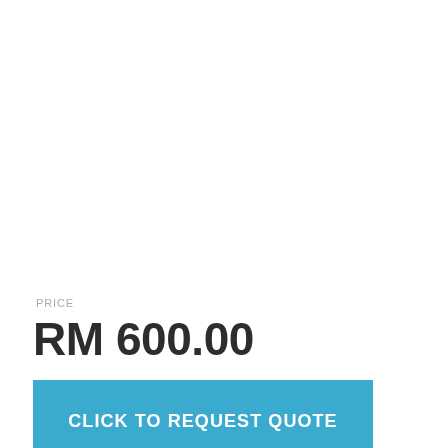PRICE
RM 600.00
CLICK TO REQUEST QUOTE